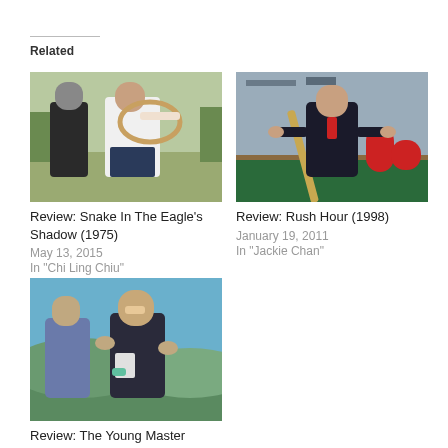Related
[Figure (photo): Two martial artists fighting outdoors, one in white shirt wielding a hoop/ring, the other in dark clothing]
Review: Snake In The Eagle's Shadow (1975)
May 13, 2015
In "Chi Ling Chiu"
[Figure (photo): Jackie Chan in dark suit with red tie posing with a wooden staff in what appears to be a bar/pool hall setting]
Review: Rush Hour (1998)
January 19, 2011
In "Jackie Chan"
[Figure (photo): Two men in a martial arts struggle outdoors, younger man with pained expression being grabbed by older man]
Review: The Young Master (1980)
May 1, 2013